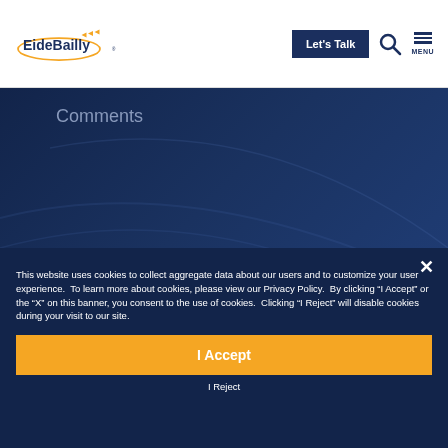[Figure (logo): EideBailly logo with golden swoosh arc and orange arrows]
[Figure (screenshot): Let's Talk button, search icon, and MENU hamburger icon in header]
Comments
This website uses cookies to collect aggregate data about our users and to customize your user experience.  To learn more about cookies, please view our Privacy Policy.  By clicking “I Accept” or the “X” on this banner, you consent to the use of cookies.  Clicking “I Reject” will disable cookies during your visit to our site.
I Accept
I Reject